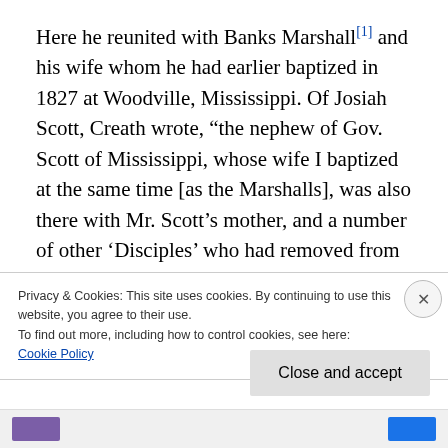Here he reunited with Banks Marshall[1] and his wife whom he had earlier baptized in 1827 at Woodville, Mississippi. Of Josiah Scott, Creath wrote, “the nephew of Gov. Scott of Mississippi, whose wife I baptized at the same time [as the Marshalls], was also there with Mr. Scott’s mother, and a number of other ‘Disciples’ who had removed from Mississipi [sic] to that portion of Louisiana.” “I preached, of course,” he continued, “the ancient gospel to them. About a dozen believed it, felt its
Privacy & Cookies: This site uses cookies. By continuing to use this website, you agree to their use.
To find out more, including how to control cookies, see here:
Cookie Policy